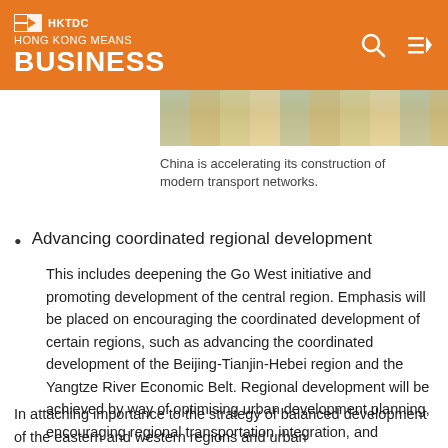HKTDC HONG KONG MEANS BUSINESS
[Figure (photo): Partial photo of modern transport/pavement, showing coloured tiles or road markings.]
China is accelerating its construction of modern transport networks.
Advancing coordinated regional development

This includes deepening the Go West initiative and promoting development of the central region. Emphasis will be placed on encouraging the coordinated development of certain regions, such as advancing the coordinated development of the Beijing-Tianjin-Hebei region and the Yangtze River Economic Belt. Regional development will be achieved by way of optimising urban development planning, encouraging regional transportation integration, and improving regional environmental planning.
In attaching importance to the strategy of balanced development of the eastern and western regions and urban